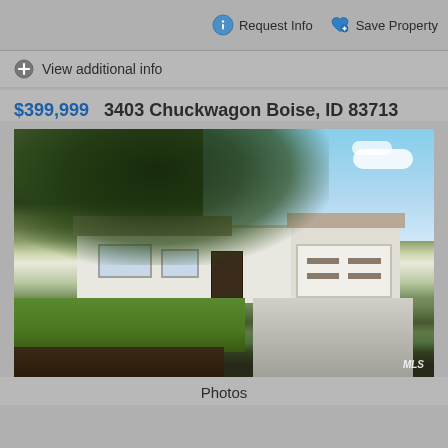Request Info  Save Property
View additional info
$399,999   3403 Chuckwagon Boise, ID 83713
[Figure (photo): Exterior photo of a single-story ranch-style home with a large tree in front, green lawn, white siding, two-car garage, and concrete driveway. MLS watermark in bottom right.]
Photos